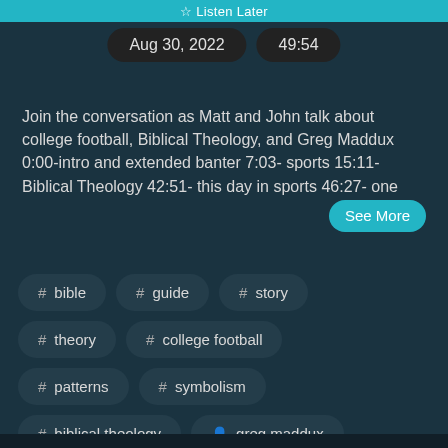☆ Listen Later
Aug 30, 2022
49:54
Join the conversation as Matt and John talk about college football, Biblical Theology, and Greg Maddux 0:00-intro and extended banter 7:03- sports 15:11- Biblical Theology 42:51- this day in sports 46:27- one See More
# bible
# guide
# story
# theory
# college football
# patterns
# symbolism
# biblical theology
👤 greg maddux